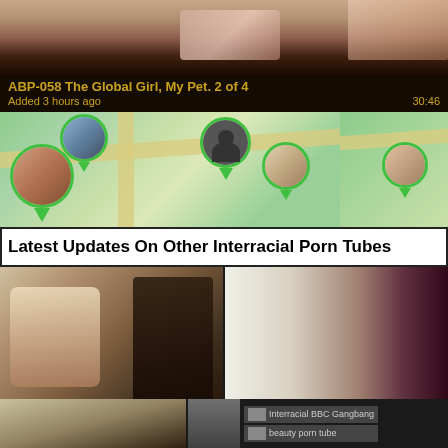[Figure (screenshot): Video thumbnail — top portion cropped, dark tones]
ABP-058 The Global Girl, My Pet. 2 of 4
Added 3 hours ago   30:46
[Figure (photo): Advertisement banner showing map with location pins and profile photos]
Latest Updates On Other Interracial Porn Tubes
[Figure (photo): Video thumbnail left — two people]
[Figure (photo): Video thumbnail right — two people]
[Figure (photo): Bottom row thumbnails with text links: Interracial BBC Gangbang, beauty porn tube]